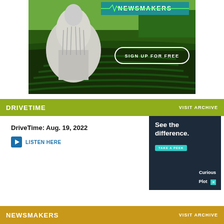[Figure (photo): NEWSMAKERS banner advertisement showing the US Capitol dome composited over green agricultural fields with 'SIGN UP FOR FREE' button]
DRIVETIME   VISIT ARCHIVE
DriveTime: Aug. 19, 2022
LISTEN HERE
[Figure (photo): Curious Plot advertisement: 'See the difference. TAKE A PEEK' with teal button and Curious Plot logo on dark navy background]
NEWSMAKERS   VISIT ARCHIVE